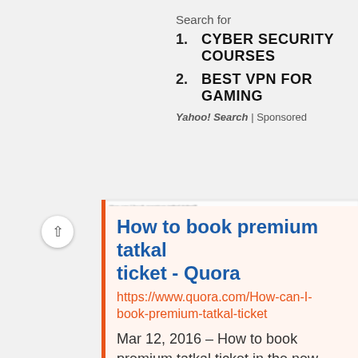Search for
1. CYBER SECURITY COURSES
2. BEST VPN FOR GAMING
Yahoo! Search | Sponsored
[Figure (screenshot): Blurred screenshot of a Quora webpage about booking premium tatkal tickets]
How to book premium tatkal ticket - Quora
https://www.quora.com/How-can-I-book-premium-tatkal-ticket
Mar 12, 2016 – How to book premium tatkal ticket in the new version of irctc. 25 Answers … 1 Log in IRCTC Application with